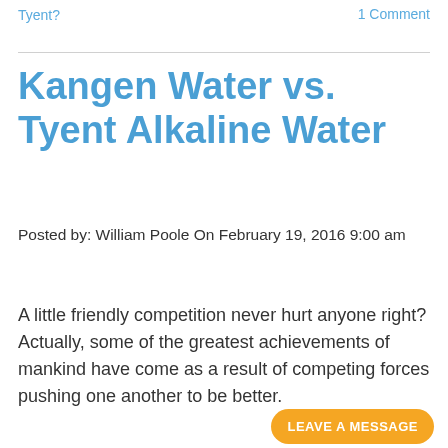Tyent?	1 Comment
Kangen Water vs. Tyent Alkaline Water
Posted by: William Poole On February 19, 2016 9:00 am
A little friendly competition never hurt anyone right? Actually, some of the greatest achievements of mankind have come as a result of competing forces pushing one another to be better.
LEAVE A MESSAGE